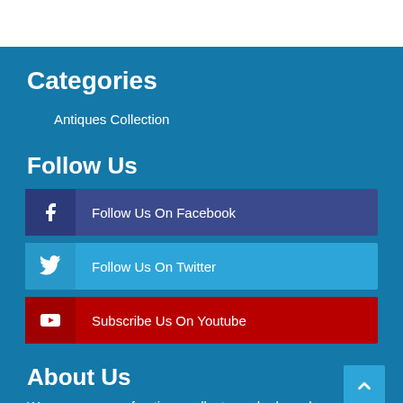Categories
Antiques Collection
Follow Us
Follow Us On Facebook
Follow Us On Twitter
Subscribe Us On Youtube
About Us
We are a group of antique collectors who have been